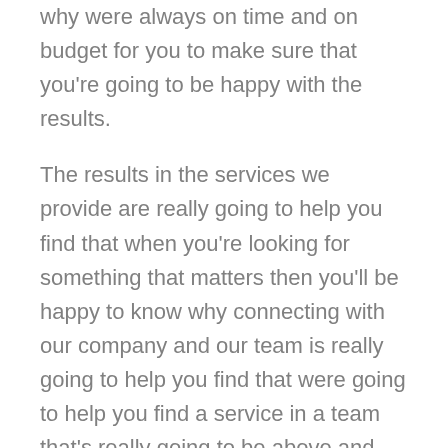why were always on time and on budget for you to make sure that you're going to be happy with the results.
The results in the services we provide are really going to help you find that when you're looking for something that matters then you'll be happy to know why connecting with our company and our team is really going to help you find that were going to help you find a service in a team that's really going to be above and beyond your satisfaction today. Is why we can't wait to help people find that when you're looking for top quality services than you'll be happy to know that were going to help you save time and save money today.
If you're ready to get in contact with our